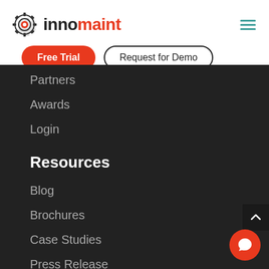[Figure (logo): Innomaint logo with gear icon and red/dark text]
Free Trial | Request for Demo
Partners
Awards
Login
Resources
Blog
Brochures
Case Studies
Press Release
Webinar
Videos